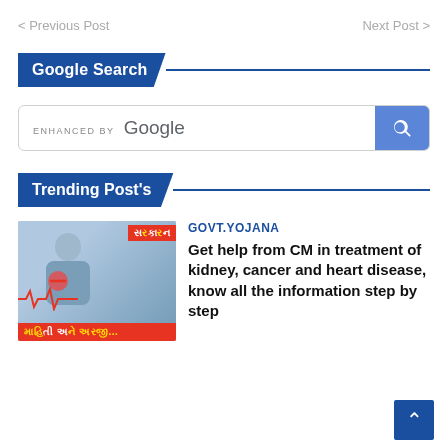< Previous Post    Next Post >
Google Search
[Figure (screenshot): Google search box with 'ENHANCED BY Google' text inside and a blue search button with magnifying glass icon]
Trending Post's
[Figure (photo): Man holding chest with Gujarati text overlay labels 'સરકારન' and 'માહિતી અને અરજી' on a red banner, with heartbeat line graphic]
GOVT.YOJANA
Get help from CM in treatment of kidney, cancer and heart disease, know all the information step by step